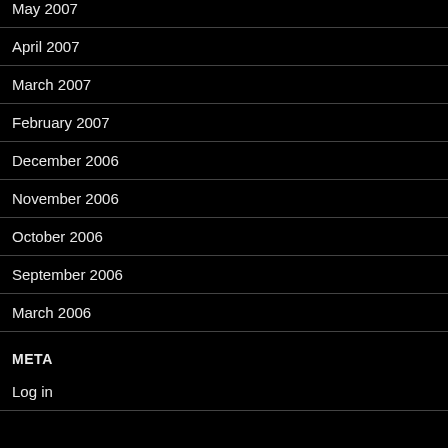May 2007
April 2007
March 2007
February 2007
December 2006
November 2006
October 2006
September 2006
March 2006
META
Log in